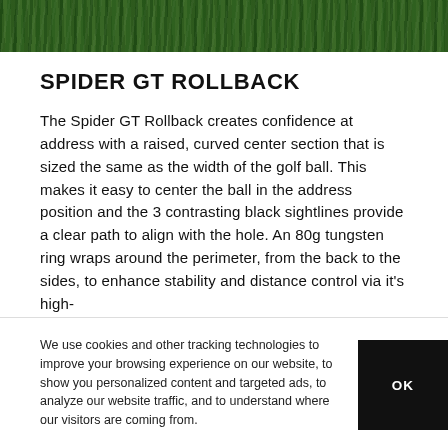[Figure (photo): Green grass texture banner at the top of the page]
SPIDER GT ROLLBACK
The Spider GT Rollback creates confidence at address with a raised, curved center section that is sized the same as the width of the golf ball. This makes it easy to center the ball in the address position and the 3 contrasting black sightlines provide a clear path to align with the hole. An 80g tungsten ring wraps around the perimeter, from the back to the sides, to enhance stability and distance control via it's high-
We use cookies and other tracking technologies to improve your browsing experience on our website, to show you personalized content and targeted ads, to analyze our website traffic, and to understand where our visitors are coming from.